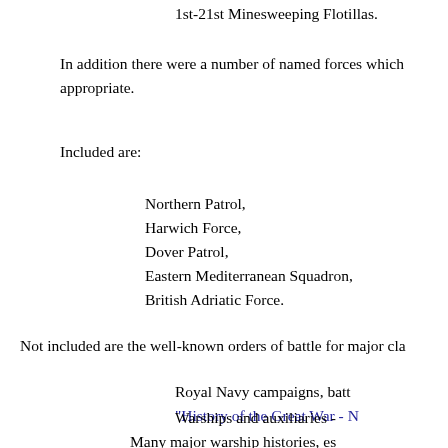1st-21st Minesweeping Flotillas.
In addition there were a number of named forces which appropriate.
Included are:
Northern Patrol,
Harwich Force,
Dover Patrol,
Eastern Mediterranean Squadron,
British Adriatic Force.
Not included are the well-known orders of battle for major cla
Royal Navy campaigns, batt
"History of the Great War - N
Warships and auxiliaries -
Many major warship histories, es